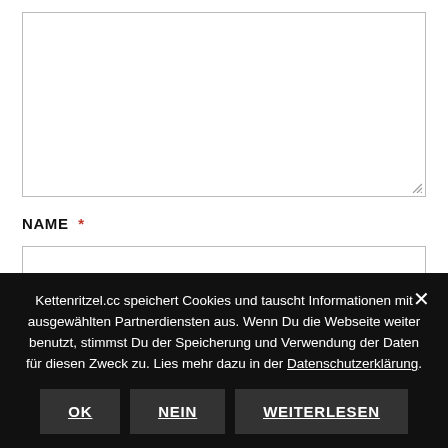[Figure (screenshot): Large empty textarea input field with a resize handle in the bottom-right corner]
NAME *
[Figure (screenshot): Single-line text input field for name entry]
Kettenritzel.cc speichert Cookies und tauscht Informationen mit ausgewählten Partnerdiensten aus. Wenn Du die Webseite weiter benutzt, stimmst Du der Speicherung und Verwendung der Daten für diesen Zweck zu. Lies mehr dazu in der Datenschutzerklärung.
OK
NEIN
WEITERLESEN